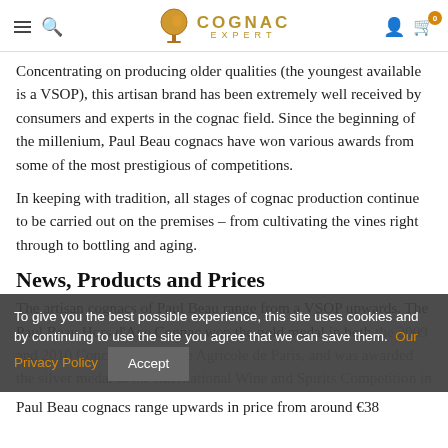Cognac Expert [navigation header with hamburger menu, search, logo, user icon, cart icon]
Concentrating on producing older qualities (the youngest available is a VSOP), this artisan brand has been extremely well received by consumers and experts in the cognac field. Since the beginning of the millenium, Paul Beau cognacs have won various awards from some of the most prestigious of competitions.
In keeping with tradition, all stages of cognac production continue to be carried out on the premises – from cultivating the vines right through to bottling and aging.
News, Products and Prices
The artisan cognacs of Paul Beau range from a VSOP upwards. The Paul Beau Hors d'Age Cognac won the gold medal in both the 2009 and 2010 Concours Générale Agricole de Paris, and was awarded the silver medal at the International Wine and Spirits Competition in 2009.
To give you the best possible experience, this site uses cookies and by continuing to use the site you agree that we can save them. Our Privacy Policy [Accept button]
Paul Beau cognacs range upwards in price from around €38